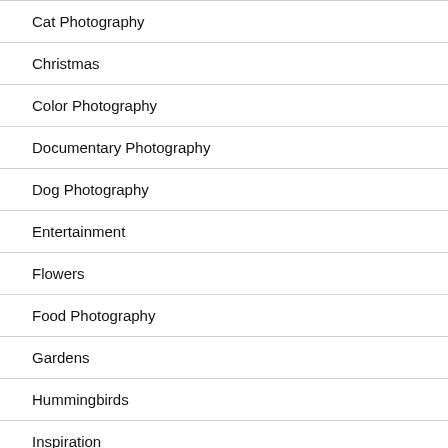Cat Photography
Christmas
Color Photography
Documentary Photography
Dog Photography
Entertainment
Flowers
Food Photography
Gardens
Hummingbirds
Inspiration